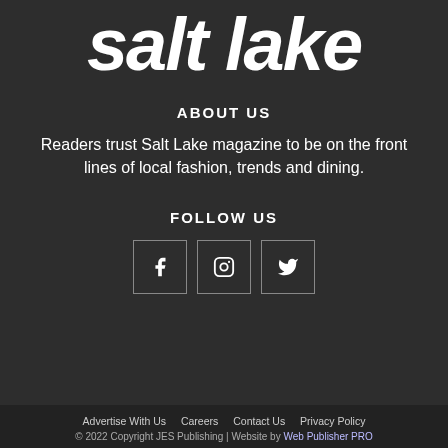[Figure (logo): Salt Lake magazine logo — bold italic white text 'salt lake' on dark background]
ABOUT US
Readers trust Salt Lake magazine to be on the front lines of local fashion, trends and dining.
FOLLOW US
[Figure (infographic): Three social media icon boxes in a row: Facebook (f), Instagram (camera), Twitter (bird)]
Advertise With Us   Careers   Contact Us   Privacy Policy
© 2022 Copyright JES Publishing | Website by Web Publisher PRO